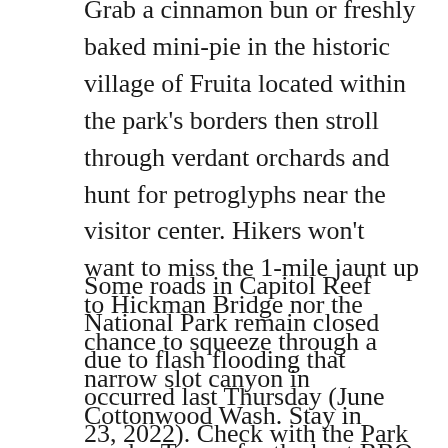Grab a cinnamon bun or freshly baked mini-pie in the historic village of Fruita located within the park's borders then stroll through verdant orchards and hunt for petroglyphs near the visitor center. Hikers won't want to miss the 1-mile jaunt up to Hickman Bridge nor the chance to squeeze through a narrow slot canyon in Cottonwood Wash. Stay in nearby Torrey for the best BBQ and wild-west themed hotels and RV parks.
Some roads in Capitol Reef National Park remain closed due to flash flooding that occurred last Thursday (June 23, 2022). Check with the Park Service as to the current status before visiting the park.